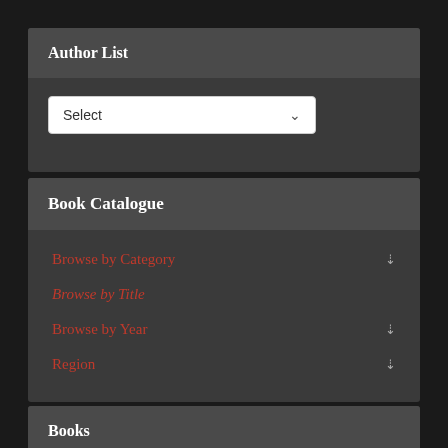Author List
Select
Book Catalogue
Browse by Category
Browse by Title
Browse by Year
Region
Books